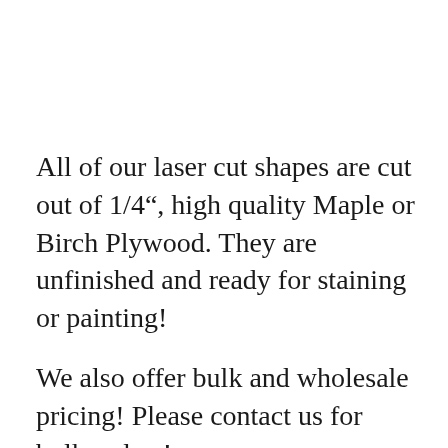All of our laser cut shapes are cut out of 1/4", high quality Maple or Birch Plywood. They are unfinished and ready for staining or painting!
We also offer bulk and wholesale pricing! Please contact us for bulk orders!
**Laser cut wood will have slightly discolored edges but can easily be painted or stained over.**
**Every piece of wood is unique and will feature different grain pattern and colors.**
Measurements are taken at the widest point. (ex. Eiffel Tower will be measured by its height. B...